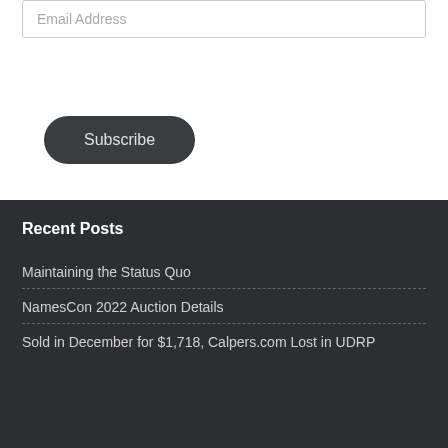Email Address
Subscribe
Recent Posts
Maintaining the Status Quo
NamesCon 2022 Auction Details
Sold in December for $1,718, Calpers.com Lost in UDRP